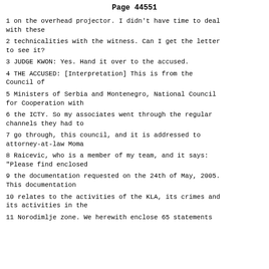Page 44551
1 on the overhead projector. I didn't have time to deal with these
2 technicalities with the witness. Can I get the letter to see it?
3 JUDGE KWON: Yes. Hand it over to the accused.
4 THE ACCUSED: [Interpretation] This is from the Council of
5 Ministers of Serbia and Montenegro, National Council for Cooperation with
6 the ICTY. So my associates went through the regular channels they had to
7 go through, this council, and it is addressed to attorney-at-law Moma
8 Raicevic, who is a member of my team, and it says: "Please find enclosed
9 the documentation requested on the 24th of May, 2005. This documentation
10 relates to the activities of the KLA, its crimes and its activities in the
11 Norodimlje zone. We herewith enclose 65 statements